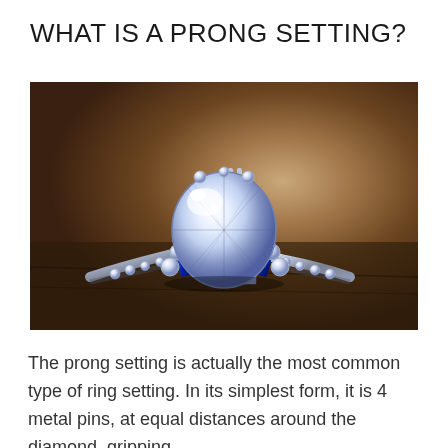WHAT IS A PRONG SETTING?
[Figure (photo): Close-up photograph of a diamond ring with prong setting, featuring a large central diamond surrounded by smaller diamonds and blue sapphire accents, resting on a dark wooden surface. The ring has an intricate platinum or white gold band with multiple smaller stones.]
The prong setting is actually the most common type of ring setting. In its simplest form, it is 4 metal pins, at equal distances around the diamond, gripping